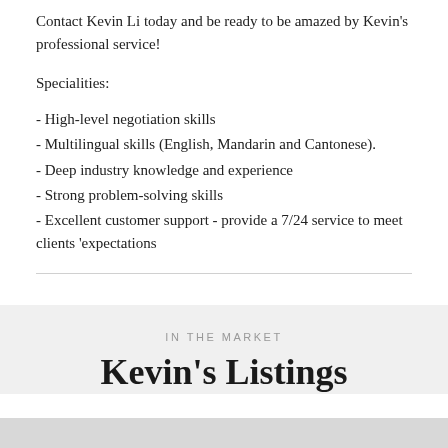Contact Kevin Li today and be ready to be amazed by Kevin's professional service!
Specialities:
- High-level negotiation skills
- Multilingual skills (English, Mandarin and Cantonese).
- Deep industry knowledge and experience
- Strong problem-solving skills
- Excellent customer support - provide a 7/24 service to meet clients 'expectations
IN THE MARKET
Kevin's Listings